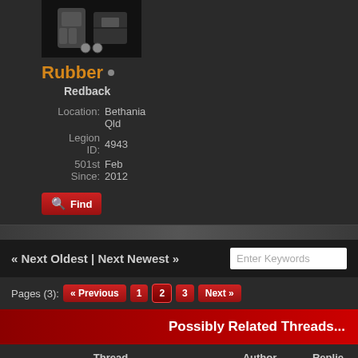[Figure (photo): Avatar image showing Star Wars armor/costume pieces on dark background]
Rubber (online indicator dot)
Redback
Location: Bethania Qld
Legion ID: 4943
501st Since: Feb 2012
Find
« Next Oldest | Next Newest »
Pages (3): « Previous  1  2  3  Next »
Possibly Related Threads...
| Thread | Author | Replies |
| --- | --- | --- |
| Please welcome the newest Redback TK-51173 cyclops | Phantom | 26 |